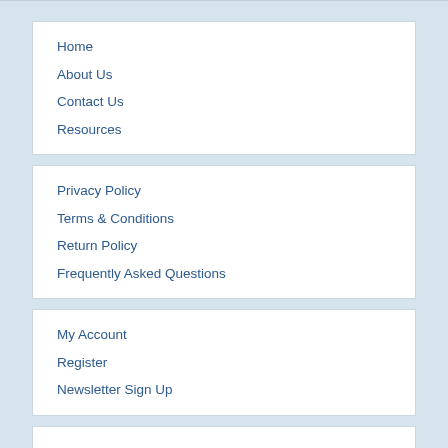Home
About Us
Contact Us
Resources
Privacy Policy
Terms & Conditions
Return Policy
Frequently Asked Questions
My Account
Register
Newsletter Sign Up
CONTACT INFORMATION
TEDSS.COM